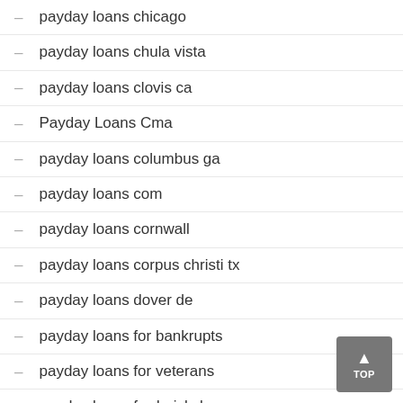payday loans chicago
payday loans chula vista
payday loans clovis ca
Payday Loans Cma
payday loans columbus ga
payday loans com
payday loans cornwall
payday loans corpus christi tx
payday loans dover de
payday loans for bankrupts
payday loans for veterans
payday loans fredericksburg va
payday loans gainesville fl
payday loans idaho